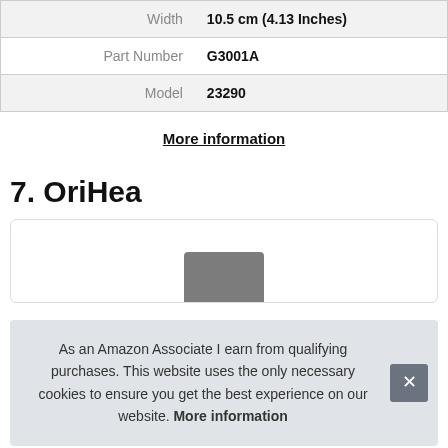| Width | 10.5 cm (4.13 Inches) |
| Part Number | G3001A |
| Model | 23290 |
More information
7. OriHea
[Figure (other): Product card box with partial product image at bottom]
As an Amazon Associate I earn from qualifying purchases. This website uses the only necessary cookies to ensure you get the best experience on our website. More information